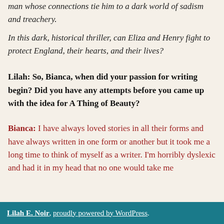man whose connections tie him to a dark world of sadism and treachery.
In this dark, historical thriller, can Eliza and Henry fight to protect England, their hearts, and their lives?
Lilah: So, Bianca, when did your passion for writing begin? Did you have any attempts before you came up with the idea for A Thing of Beauty?
Bianca: I have always loved stories in all their forms and have always written in one form or another but it took me a long time to think of myself as a writer. I'm horribly dyslexic and had it in my head that no one would take me
Lilah E. Noir, proudly powered by WordPress.